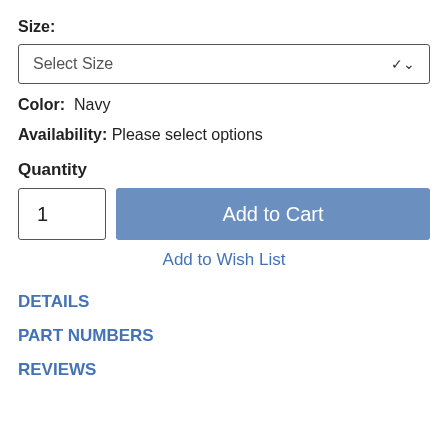Size:
Select Size
Color:  Navy
Availability: Please select options
Quantity
1
Add to Cart
Add to Wish List
DETAILS
PART NUMBERS
REVIEWS